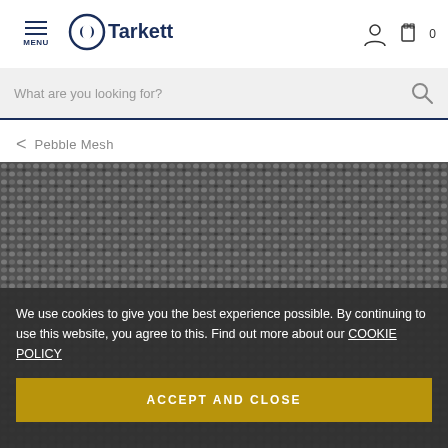MENU | Tarkett
What are you looking for?
< Pebble Mesh
[Figure (photo): Close-up photo of a grey/dark woven carpet texture called Pebble Mesh by Tarkett]
We use cookies to give you the best experience possible. By continuing to use this website, you agree to this. Find out more about our COOKIE POLICY
ACCEPT AND CLOSE